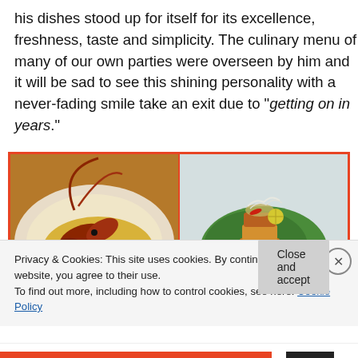his dishes stood up for itself for its excellence, freshness, taste and simplicity. The culinary menu of many of our own parties were overseen by him and it will be sad to see this shining personality with a never-fading smile take an exit due to "getting on in years."
[Figure (photo): Two food dishes side by side with a red/orange border. Left: a whole cooked lobster/prawn on a yellow sauce on a white plate. Right: a stacked food item on a banana leaf with garnishes.]
Privacy & Cookies: This site uses cookies. By continuing to use this website, you agree to their use.
To find out more, including how to control cookies, see here: Cookie Policy
Close and accept